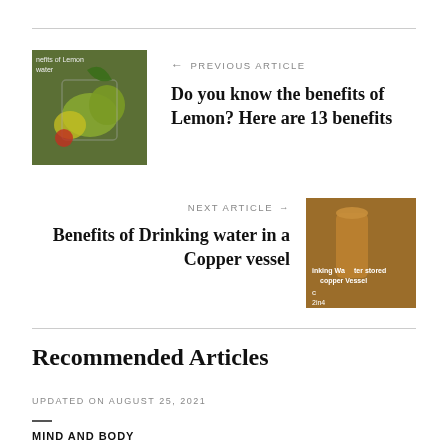[Figure (photo): Thumbnail image of lemon water with text 'nefits of Lemon water']
← PREVIOUS ARTICLE
Do you know the benefits of Lemon? Here are 13 benefits
NEXT ARTICLE →
Benefits of Drinking water in a Copper vessel
[Figure (photo): Thumbnail image with text 'inking Water stored copper Vessel']
Recommended Articles
UPDATED ON AUGUST 25, 2021
MIND AND BODY